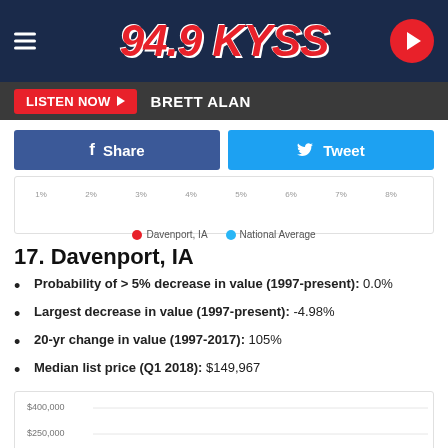[Figure (logo): 94.9 KYSS FM radio station logo on dark blue background with hamburger menu and play button]
LISTEN NOW  BRETT ALAN
[Figure (other): Facebook Share and Twitter Tweet social sharing buttons]
[Figure (line-chart): Partial line chart with x-axis tick labels (years) and legend showing Davenport IA (red) and National Average (blue)]
17. Davenport, IA
Probability of > 5% decrease in value (1997-present): 0.0%
Largest decrease in value (1997-present): -4.98%
20-yr change in value (1997-2017): 105%
Median list price (Q1 2018): $149,967
[Figure (line-chart): Partial bar/line chart showing home values for Davenport IA with y-axis labels $400,000 and $250,000]